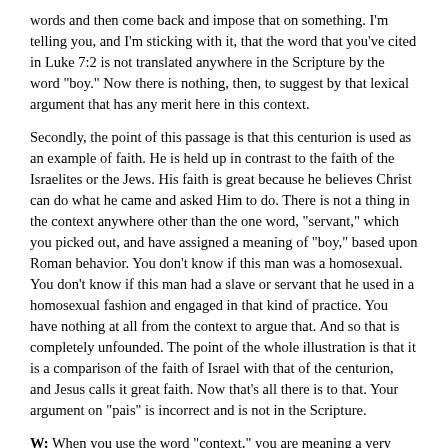words and then come back and impose that on something. I'm telling you, and I'm sticking with it, that the word that you've cited in Luke 7:2 is not translated anywhere in the Scripture by the word "boy." Now there is nothing, then, to suggest by that lexical argument that has any merit here in this context.
Secondly, the point of this passage is that this centurion is used as an example of faith. He is held up in contrast to the faith of the Israelites or the Jews. His faith is great because he believes Christ can do what he came and asked Him to do. There is not a thing in the context anywhere other than the one word, "servant," which you picked out, and have assigned a meaning of "boy," based upon Roman behavior. You don't know if this man was a homosexual. You don't know if this man had a slave or servant that he used in a homosexual fashion and engaged in that kind of practice. You have nothing at all from the context to argue that. And so that is completely unfounded. The point of the whole illustration is that it is a comparison of the faith of Israel with that of the centurion, and Jesus calls it great faith. Now that's all there is to that. Your argument on "pais" is incorrect and is not in the Scripture.
W: When you use the word "context," you are meaning a very different thing than when I use the word "context." When you use the word "context," you seem to be limiting it to the printed word on the pages themselves, and that is your concept. When I say the word "context," I'm talking about the entire setting. I mean let's look at the story, when it happened, look at what we know about the Roman culture, from history, from anthropology.